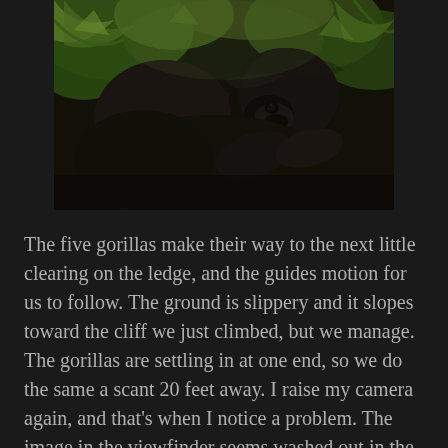[Figure (photo): Two gorillas in a jungle clearing. One gorilla leans over the other against a backdrop of green tropical foliage. The fur is dark/black and the scene is dimly lit.]
The five gorillas make their way to the next little clearing on the ledge, and the guides motion for us to follow. The ground is slippery and it slopes toward the cliff we just climbed, but we manage. The gorillas are settling in at one end, so we do the same a scant 20 feet away. I raise my camera again, and that's when I notice a problem. The image in the viewfinder seems washed out in the middle, and I'm having trouble